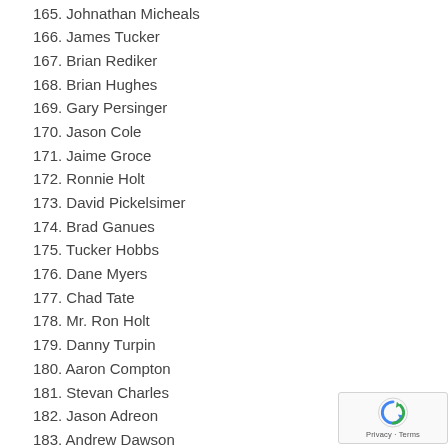165. Johnathan Micheals
166. James Tucker
167. Brian Rediker
168. Brian Hughes
169. Gary Persinger
170. Jason Cole
171. Jaime Groce
172. Ronnie Holt
173. David Pickelsimer
174. Brad Ganues
175. Tucker Hobbs
176. Dane Myers
177. Chad Tate
178. Mr. Ron Holt
179. Danny Turpin
180. Aaron Compton
181. Stevan Charles
182. Jason Adreon
183. Andrew Dawson
184. Bobby Hutson
185. Mathew Hill
186. [partial, cut off]